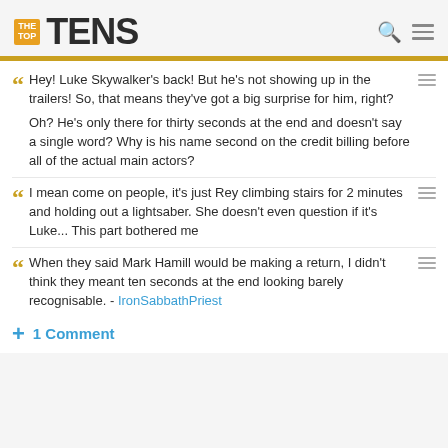THE TOP TENS
Hey! Luke Skywalker's back! But he's not showing up in the trailers! So, that means they've got a big surprise for him, right?
Oh? He's only there for thirty seconds at the end and doesn't say a single word? Why is his name second on the credit billing before all of the actual main actors?
I mean come on people, it's just Rey climbing stairs for 2 minutes and holding out a lightsaber. She doesn't even question if it's Luke... This part bothered me
When they said Mark Hamill would be making a return, I didn't think they meant ten seconds at the end looking barely recognisable. - IronSabbathPriest
+ 1 Comment